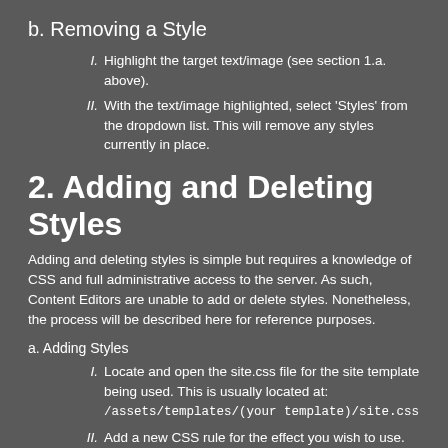b. Removing a Style
I. Highlight the target text/image (see section 1.a. above).
II. With the text/image highlighted, select 'Styles' from the dropdown list. This will remove any styles currently in place.
2. Adding and Deleting Styles
Adding and deleting styles is simple but requires a knowledge of CSS and full administrative access to the server. As such, Content Editors are unable to add or delete styles. Nonetheless, the process will be described here for reference purposes.
a. Adding Styles
I. Locate and open the site.css file for the site template being used. This is usually located at: /assets/templates/(your template)/site.css
II. Add a new CSS rule for the effect you wish to use.